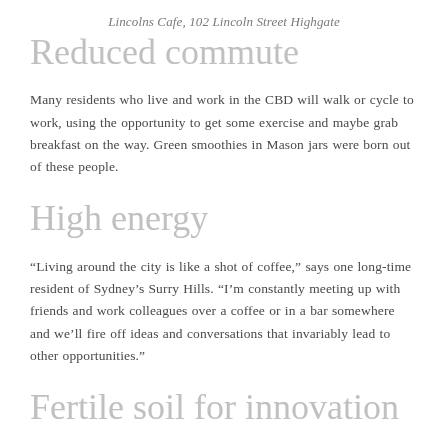Lincolns Cafe, 102 Lincoln Street Highgate
Reduced commute
Many residents who live and work in the CBD will walk or cycle to work, using the opportunity to get some exercise and maybe grab breakfast on the way. Green smoothies in Mason jars were born out of these people.
High energy
“Living around the city is like a shot of coffee,” says one long-time resident of Sydney’s Surry Hills. “I’m constantly meeting up with friends and work colleagues over a coffee or in a bar somewhere and we’ll fire off ideas and conversations that invariably lead to other opportunities.”
Fertile soil for innovation